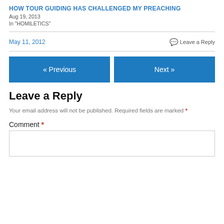HOW TOUR GUIDING HAS CHALLENGED MY PREACHING
Aug 19, 2013
In "HOMILETICS"
May 11, 2012
Leave a Reply
« Previous
Next »
Leave a Reply
Your email address will not be published. Required fields are marked *
Comment *